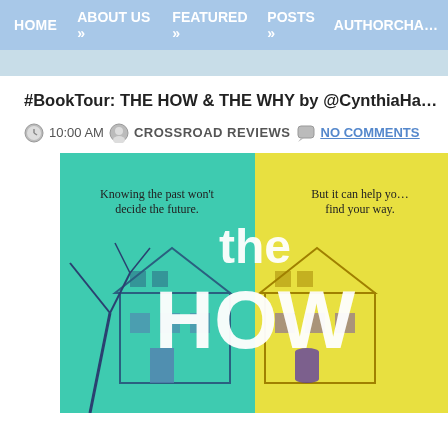HOME   ABOUT US »   FEATURED »   POSTS »   AUTHORCHA…
#BookTour: THE HOW & THE WHY by @CynthiaHand @JeanBoo…
10:00 AM   CROSSROAD REVIEWS   NO COMMENTS
[Figure (illustration): Book cover for 'the HOW' split in teal and yellow halves showing a house, tree branches, with text: 'Knowing the past won't decide the future.' and 'But it can help you find your way.']